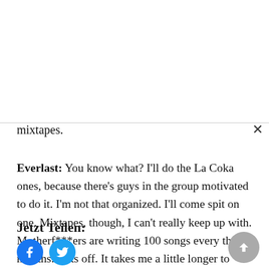mixtapes.
Everlast: You know what? I'll do the La Coka ones, because there's guys in the group motivated to do it. I'm not that organized. I'll come spit on one. Mixtapes, though, I can't really keep up with. Motherf***ers are writing 100 songs every three months. Hats off. It takes me a little longer to create.
Jetzt Teilen:
[Figure (other): Facebook and Twitter social share buttons (circular icons in blue)]